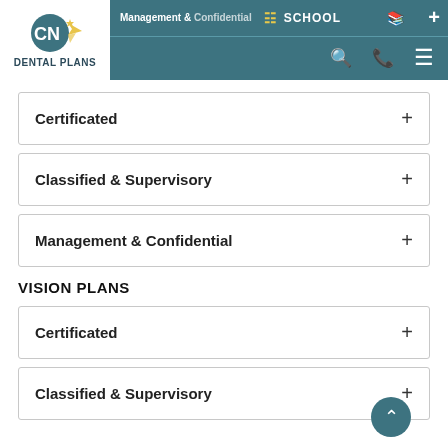Management & Confidential | SCHOOL | CN Dental Plans
Certificated +
Classified & Supervisory +
Management & Confidential +
VISION PLANS
Certificated +
Classified & Supervisory +